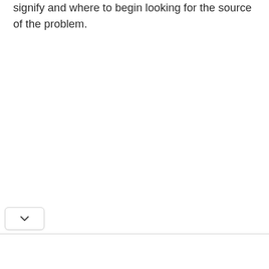signify and where to begin looking for the source of the problem.